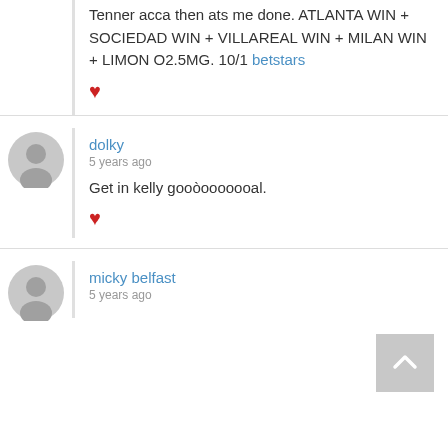Tenner acca then ats me done. ATLANTA WIN + SOCIEDAD WIN + VILLAREAL WIN + MILAN WIN + LIMON O2.5MG. 10/1 betstars
❤
dolky
5 years ago
Get in kelly gooòooooooal.
❤
micky belfast
5 years ago